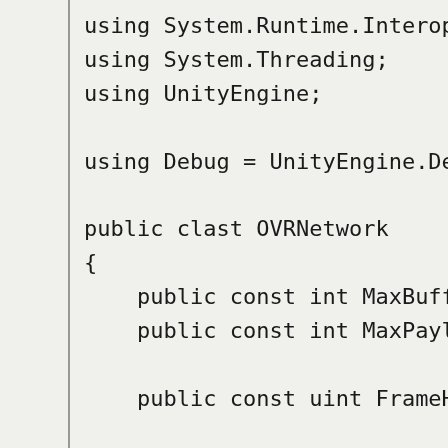using System.Runtime.InteropServices;
using System.Threading;
using UnityEngine;

using Debug = UnityEngine.Debug;

public clast OVRNetwork
{
    public const int MaxBufferLength
    public const int MaxPayloadLengt

    public const uint FrameHeaderMag.

    [StructLayout(LayoutKind.Sequent.